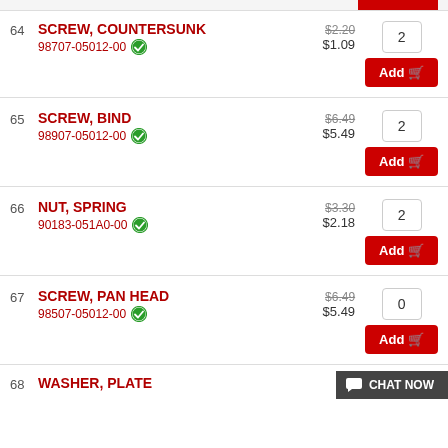64 SCREW, COUNTERSUNK 98707-05012-00 $2.20 $1.09 Qty: 2 Add
65 SCREW, BIND 98907-05012-00 $6.49 $5.49 Qty: 2 Add
66 NUT, SPRING 90183-051A0-00 $3.30 $2.18 Qty: 2 Add
67 SCREW, PAN HEAD 98507-05012-00 $6.49 $5.49 Qty: 0 Add
68 WASHER, PLATE $2.3...